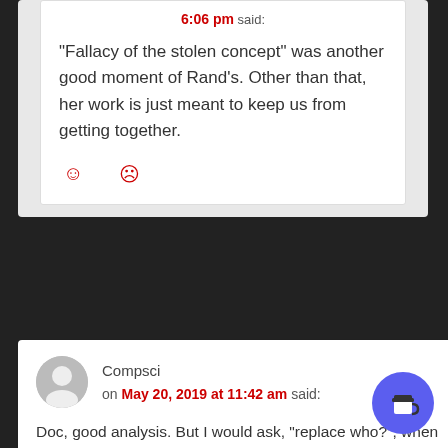6:06 pm said:
“Fallacy of the stolen concept” was another good moment of Rand’s. Other than that, her work is just meant to keep us from getting together.
Compsci on May 20, 2019 at 11:42 am said:
Doc, good analysis. But I would ask, “replace who?”, when you say “replace